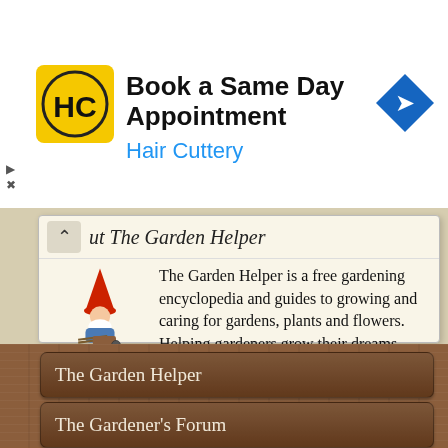[Figure (screenshot): Advertisement banner for Hair Cuttery showing HC logo, text 'Book a Same Day Appointment', 'Hair Cuttery', and a blue navigation arrow icon]
About The Garden Helper
The Garden Helper is a free gardening encyclopedia and guides to growing and caring for gardens, plants and flowers. Helping gardeners grow their dreams since 1997. No-dash-here.
The Garden Helper
The Gardener's Forum
Forum Archive
Garden Calendar